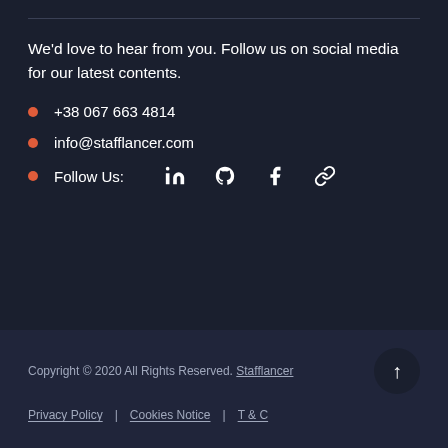We'd love to hear from you. Follow us on social media for our latest contents.
+38 067 663 4814
info@stafflancer.com
Follow Us: [LinkedIn] [GitHub] [Facebook] [Link]
Copyright © 2020 All Rights Reserved. Stafflancer | Privacy Policy | Cookies Notice | T & C